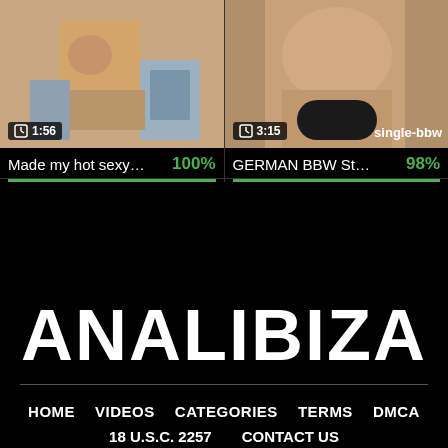[Figure (screenshot): Thumbnail of video: Made my hot sexy wi... with duration 1:56]
[Figure (screenshot): Thumbnail of video: GERMAN BBW Strips... with duration 3:15 and watermark single-bbw]
Made my hot sexy wi... 100%
GERMAN BBW Strips... 98%
ANALIBIZA
HOME  VIDEOS  CATEGORIES  TERMS  DMCA  18 U.S.C. 2257  CONTACT US  © All rights reserved.